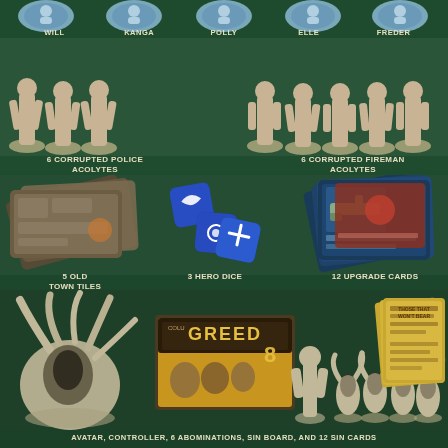[Figure (photo): Five character bust tokens at top row labeled WILL, KANGA, POLLY, ELLE, FREDER on dark green background]
WILL    KANGA    POLLY    ELLE    FREDER
[Figure (photo): Row of 6 corrupted police acolyte miniatures (beige) on left and 6 corrupted fireman acolyte miniatures (beige) on right, on dark green background]
6 CORRUPTED POLICE ACOLYTES
6 CORRUPTED FIREMAN ACOLYTES
[Figure (photo): 5 Old Town Tiles (map tiles stacked), 3 Hero Dice (blue dice with symbols), 12 Upgrade Cards (card stack with artwork)]
5 OLD TOWN TILES
3 HERO DICE
12 UPGRADE CARDS
[Figure (photo): Bottom section showing Avatar (large tentacled monster miniature), Controller miniature, 6 Abomination miniatures, Sin Board box (Greed 8 game box), and 12 Sin Cards]
AVATAR, CONTROLLER, 6 ABOMINATIONS, SIN BOARD, AND 12 SIN CARDS